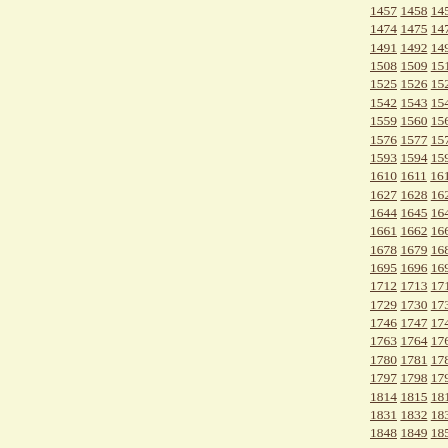Sequential numbered links from 1457 to 1873+, arranged in rows of approximately 17 numbers each, displayed as underlined links on a cream/yellow background.